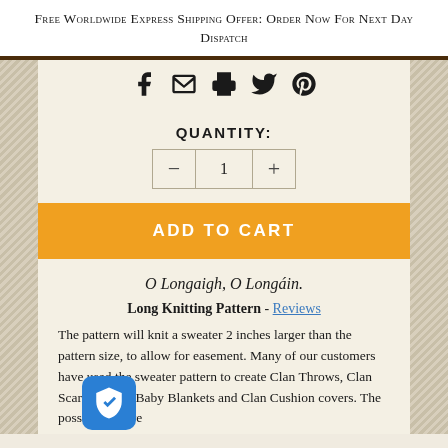Free Worldwide Express Shipping Offer: Order Now For Next Day Dispatch
[Figure (other): Social sharing icons: Facebook, email/envelope, print, Twitter, Pinterest]
QUANTITY:
[Figure (other): Quantity selector: minus button, value 1, plus button]
ADD TO CART
O Longaigh, O Longáin.
Long Knitting Pattern - Reviews
The pattern will knit a sweater 2 inches larger than the pattern size, to allow for easement. Many of our customers have used the sweater pattern to create Clan Throws, Clan Scarves, Clan Baby Blankets and Clan Cushion covers. The possibilities are